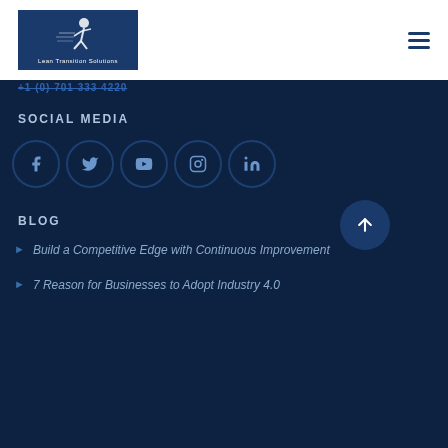[Figure (logo): Lean Transition Solutions logo — runner figure on blue background with company name]
+1 (0) 701 333 4220
SOCIAL MEDIA
[Figure (infographic): Five social media icon circles: Facebook, Twitter, YouTube, Instagram, LinkedIn]
BLOG
Build a Competitive Edge with Continuous Improvement
7 Reason for Businesses to Adopt Industry 4.0